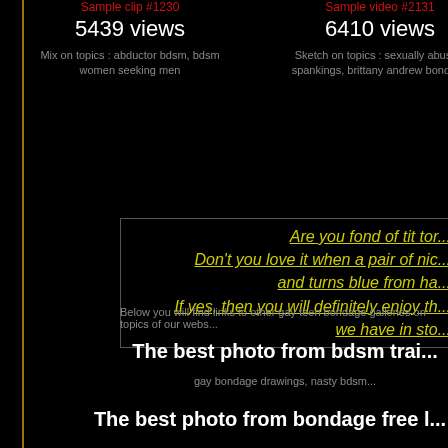Sample clip #1230
5439 views
Mix on topics : abductor bdsm, bdsm women seeking men
Sample video #2131
6410 views
Sketch on topics : sexually abusive spankings, brittany andrew bondage
Are you fond of tit tor... Don't you love it when a pair of nic... and turns blue from ha... If yes, then you will definitely enjoy th... we have in sto...
Below you will find links to other gay teen bondage galleries on topics of our webs...
The best photo from bdsm trai...
gay bondage drawings, nasty bdsm...
The best photo from bondage free l...